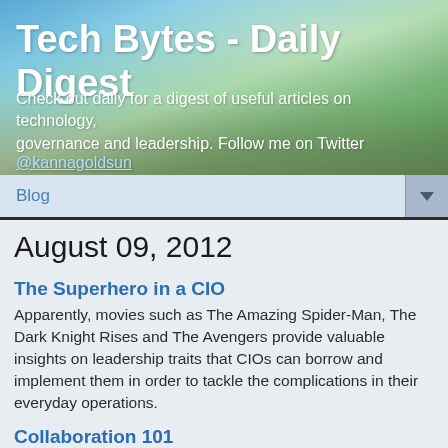[Figure (photo): Blog header banner with road/landscape photo background, sky with clouds, trees, highway receding into distance]
Tech Bytes - Daily Digest
Check out daily for a digest of useful articles on technology, governance and leadership. Follow me on Twitter @kannagoldsun
Blog
August 09, 2012
The Superhero in a CIO
Apparently, movies such as The Amazing Spider-Man, The Dark Knight Rises and The Avengers provide valuable insights on leadership traits that CIOs can borrow and implement them in order to tackle the complications in their everyday operations.
Collaboration 101
Unfortunately most CEOs / CXOs think that if they...